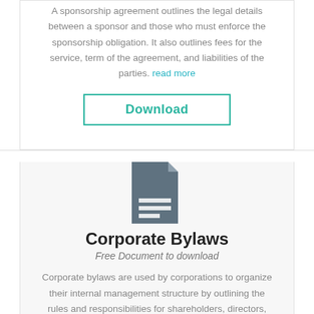A sponsorship agreement outlines the legal details between a sponsor and those who must enforce the sponsorship obligation. It also outlines fees for the service, term of the agreement, and liabilities of the parties. read more
Download
[Figure (illustration): Document icon - stylized gray document with folded corner and horizontal text lines]
Corporate Bylaws
Free Document to download
Corporate bylaws are used by corporations to organize their internal management structure by outlining the rules and responsibilities for shareholders, directors, and officers. read more